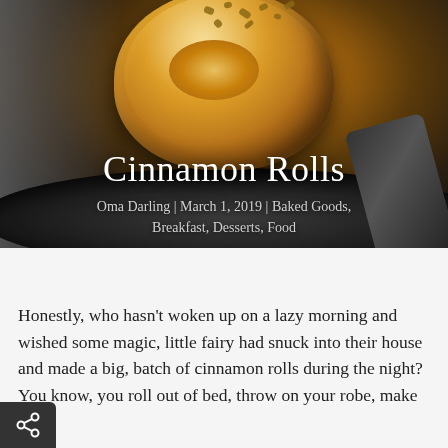[Figure (photo): Close-up photo of a glazed cinnamon roll with chopped nuts on top, placed on a dark plate, with a fork partially visible. Dark moody background.]
Cinnamon Rolls
Oma Darling | March 1, 2019 | Baked Goods, Breakfast, Desserts, Food
Honestly, who hasn't woken up on a lazy morning and wished some magic, little fairy had snuck into their house and made a big, batch of cinnamon rolls during the night? You know, you roll out of bed, throw on your robe, make